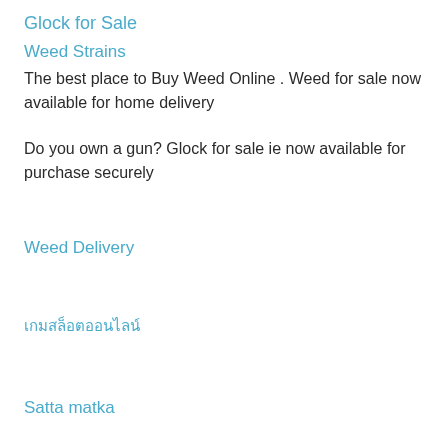Glock for Sale
Weed Strains
The best place to Buy Weed Online . Weed for sale now available for home delivery
Do you own a gun? Glock for sale ie now available for purchase securely
Weed Delivery
เกมสล็อตออนไลน์
Satta matka